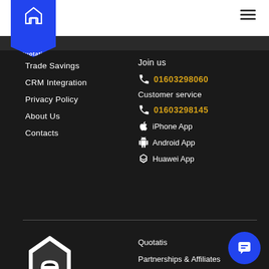[Figure (logo): Quotatis logo badge - blue shield shape with house icon and 'Quotatis' text]
Trade Savings
CRM Integration
Privacy Policy
About Us
Contacts
Join us
01603298060
Customer service
01603298145
iPhone App
Android App
Huawei App
[Figure (logo): Quotatis large white logo icon]
Quotatis
Partnerships & Affiliates
Mobile App